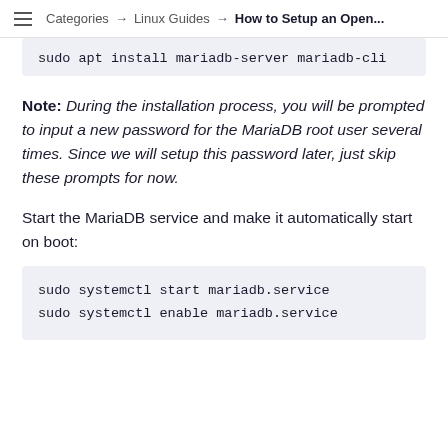Categories → Linux Guides → How to Setup an Open...
sudo apt install mariadb-server mariadb-cli
Note: During the installation process, you will be prompted to input a new password for the MariaDB root user several times. Since we will setup this password later, just skip these prompts for now.
Start the MariaDB service and make it automatically start on boot:
sudo systemctl start mariadb.service
sudo systemctl enable mariadb.service